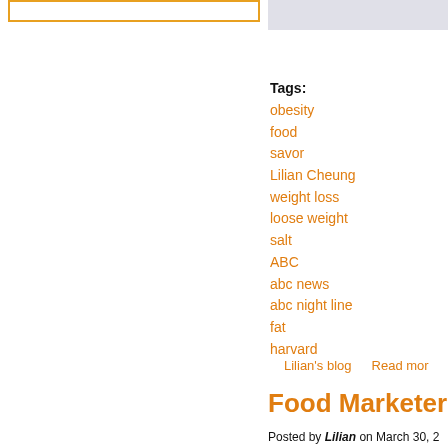[Figure (other): Orange bordered rectangle in top-left area]
[Figure (other): Gray bar in top-right area]
Tags:
obesity
food
savor
Lilian Cheung
weight loss
loose weight
salt
ABC
abc news
abc night line
fat
harvard
Lilian's blog    Read mor
Food Marketers
Posted by Lilian on March 30, 2
Tags:
obesity
food
Marketing
advertising